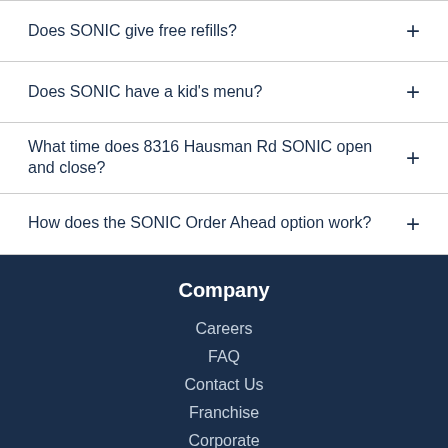Does SONIC give free refills?
Does SONIC have a kid's menu?
What time does 8316 Hausman Rd SONIC open and close?
How does the SONIC Order Ahead option work?
Company
Careers
FAQ
Contact Us
Franchise
Corporate